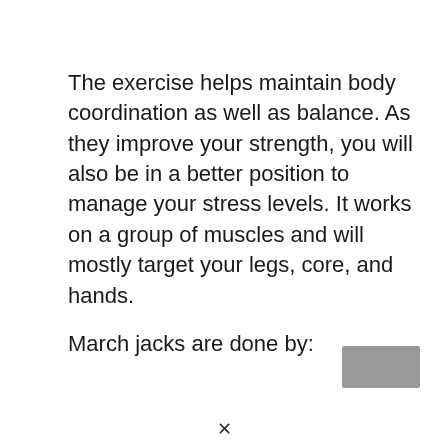The exercise helps maintain body coordination as well as balance. As they improve your strength, you will also be in a better position to manage your stress levels. It works on a group of muscles and will mostly target your legs, core, and hands.

March jacks are done by: